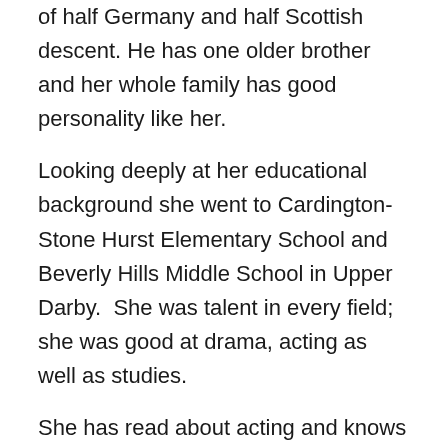of half Germany and half Scottish descent. He has one older brother and her whole family has good personality like her.
Looking deeply at her educational background she went to Cardington-Stone Hurst Elementary School and Beverly Hills Middle School in Upper Darby.  She was talent in every field; she was good at drama, acting as well as studies.
She has read about acting and knows that she was interest in comedy and again she attend Upper Darby High School where she was an honor student.  Very talented Tina she has studied various subjects such as drama, photography and sculpture in high school and was member of it for many years. He holds honor